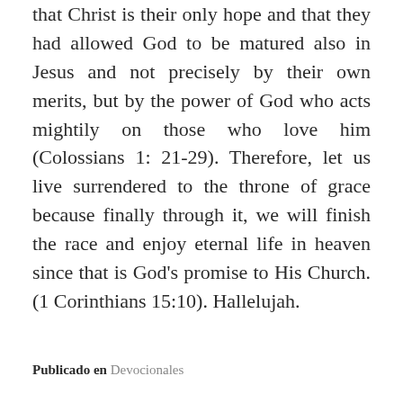that Christ is their only hope and that they had allowed God to be matured also in Jesus and not precisely by their own merits, but by the power of God who acts mightily on those who love him (Colossians 1: 21-29). Therefore, let us live surrendered to the throne of grace because finally through it, we will finish the race and enjoy eternal life in heaven since that is God's promise to His Church. (1 Corinthians 15:10). Hallelujah.
Publicado en Devocionales